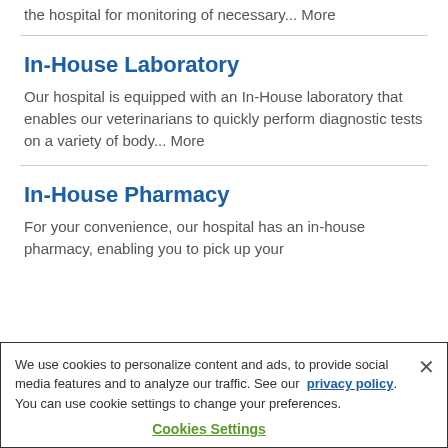the hospital for monitoring of necessary... More
In-House Laboratory
Our hospital is equipped with an In-House laboratory that enables our veterinarians to quickly perform diagnostic tests on a variety of body... More
In-House Pharmacy
For your convenience, our hospital has an in-house pharmacy, enabling you to pick up your
We use cookies to personalize content and ads, to provide social media features and to analyze our traffic. See our privacy policy. You can use cookie settings to change your preferences.
Cookies Settings